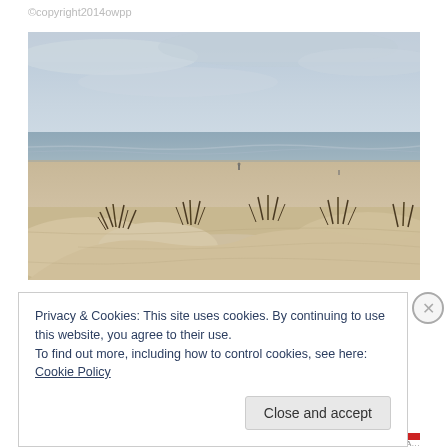©copyright2014owpp
[Figure (photo): Beach scene with sand dunes in the foreground covered with sparse grassy vegetation, a wide sandy beach stretching to the sea, and an overcast grey sky. The sea is calm with small waves. A few distant figures are visible on the beach.]
Privacy & Cookies: This site uses cookies. By continuing to use this website, you agree to their use.
To find out more, including how to control cookies, see here: Cookie Policy